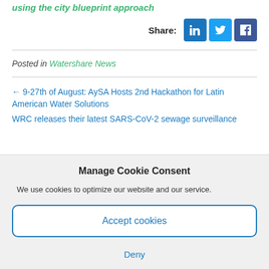using the city blueprint approach
Share:
[Figure (other): Social media share buttons: LinkedIn, Twitter, Facebook]
Posted in Watershare News
← 9-27th of August: AySA Hosts 2nd Hackathon for Latin American Water Solutions
WRC releases their latest SARS-CoV-2 sewage surveillance
Manage Cookie Consent
We use cookies to optimize our website and our service.
Accept cookies
Deny